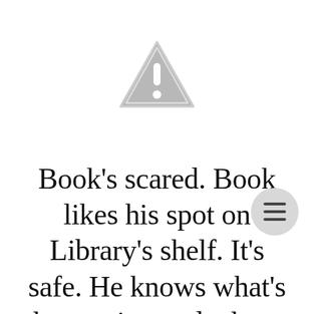[Figure (illustration): A gray warning triangle icon with an exclamation mark inside, centered near the top of the page.]
Book's scared. Book likes his spot on Library's shelf. It's safe. He knows what's happening and where everything is but he wonders